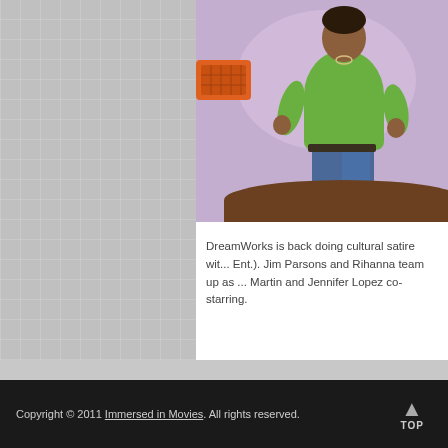[Figure (illustration): Animated character in green sweater and jeans standing in front of a purple/lavender background, holding something. Part of a DreamWorks animated film (Home). Other animated elements visible.]
DreamWorks is back doing cultural satire wit... Ent.). Jim Parsons and Rihanna team up as ... Martin and Jennifer Lopez co-starring.
Copyright © 2011 Immersed in Movies. All rights reserved.